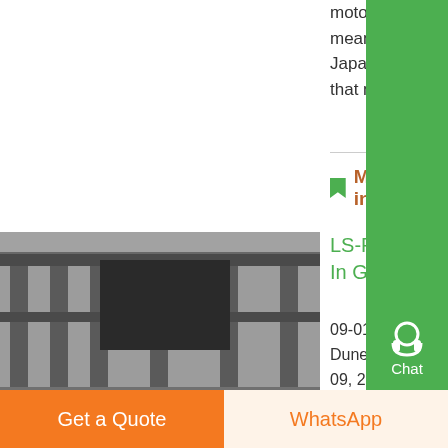motor's name, Hayabusa, means peregrine falcon in Japanese and the motor earns that name with its ....
More information
[Figure (photo): Industrial structure with metal beams and supports, indoor construction view]
LS-Powered Sand Rails Take On The Dunes In Glamis ,
09-01-2012· LS-Powered Sand Rails Take On The Dunes In Glamis, California By Lauren Camille January 09, 2012 LS swaps are insanely popular throughout the wide world of motorsports, but they seem to be a dominant force in the world of sand
Get a Quote | WhatsApp